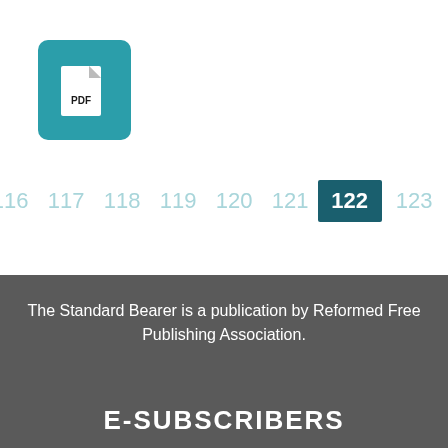[Figure (logo): PDF file icon: teal/turquoise rounded square background with a white document icon and 'PDF' text label]
< 116 117 118 119 120 121 122 123 124
The Standard Bearer is a publication by Reformed Free Publishing Association.
E-SUBSCRIBERS